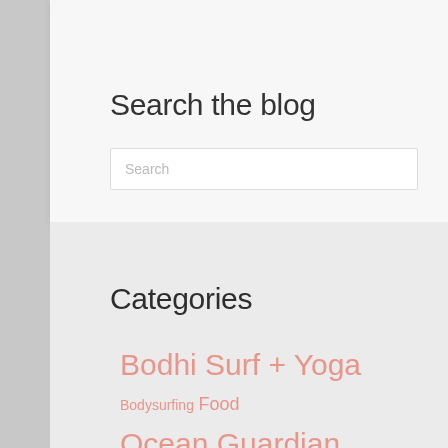Search the blog
Search
Categories
Bodhi Surf + Yoga
Bodysurfing
Food
Ocean Guardian Journey
Surf
+ Yoga Camp
Surfing Travel
Wellness
Yoga